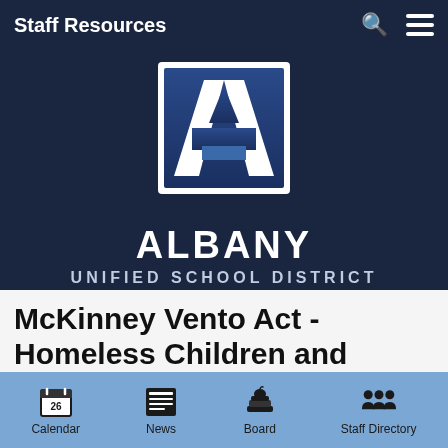Staff Resources
[Figure (logo): Albany Unified School District logo — stylized letter A in a square with gradient blue background, white border]
ALBANY UNIFIED SCHOOL DISTRICT
McKinney Vento Act - Homeless Children and
Calendar  News  Board  Staff Directory